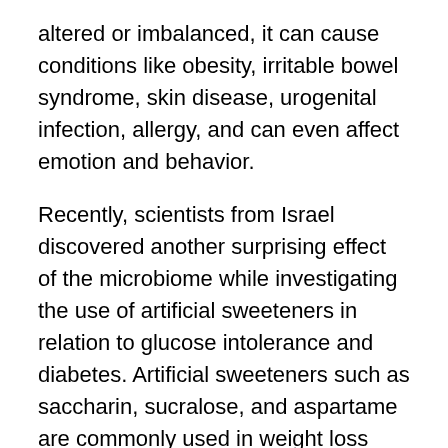altered or imbalanced, it can cause conditions like obesity, irritable bowel syndrome, skin disease, urogenital infection, allergy, and can even affect emotion and behavior.
Recently, scientists from Israel discovered another surprising effect of the microbiome while investigating the use of artificial sweeteners in relation to glucose intolerance and diabetes. Artificial sweeteners such as saccharin, sucralose, and aspartame are commonly used in weight loss strategies because they do not add calories while still satisfying sweet cravings. However, artificial sweeteners are not always effective in managing weight and glucose, and scientists at the Weizmann Institute of Science may have figured out why.
Through experimentation they observed that adding